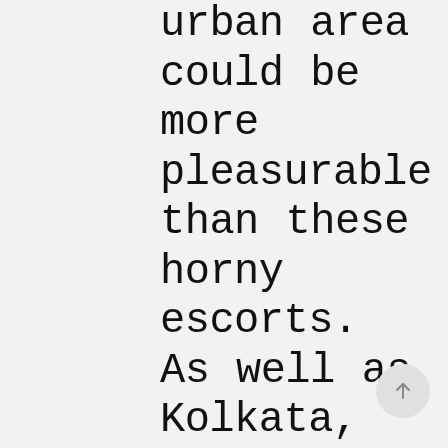urban area could be more pleasurable than these horny escorts. As well as Kolkata, you can find more metropolitan areas way too the best places to have a great time and take pleasure in in your worked with Kolkata take woman. Indian ladies become alluring in addition to